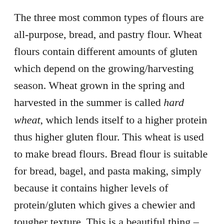The three most common types of flours are all-purpose, bread, and pastry flour. Wheat flours contain different amounts of gluten which depend on the growing/harvesting season. Wheat grown in the spring and harvested in the summer is called hard wheat, which lends itself to a higher protein thus higher gluten flour. This wheat is used to make bread flours. Bread flour is suitable for bread, bagel, and pasta making, simply because it contains higher levels of protein/gluten which gives a chewier and tougher texture. This is a beautiful thing – something we bakers live and breath for! On the other hand, wheat grown during the winter and harvested in early spring contains lesser amounts of protein, thus lesser